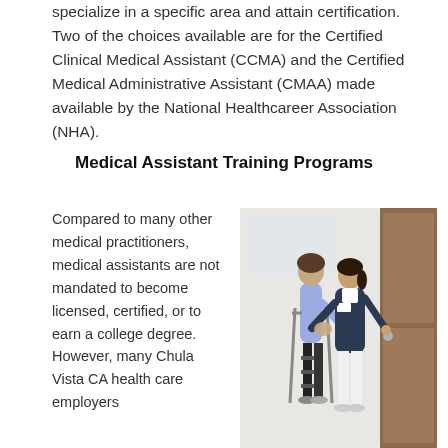specialize in a specific area and attain certification. Two of the choices available are for the Certified Clinical Medical Assistant (CCMA) and the Certified Medical Administrative Assistant (CMAA) made available by the National Healthcareer Association (NHA).
Medical Assistant Training Programs
Compared to many other medical practitioners, medical assistants are not mandated to become licensed, certified, or to earn a college degree. However, many Chula Vista CA health care employers
[Figure (photo): A medical professional in dark scrubs shaking hands with a patient using crutches and a leg brace, standing in a doorway with a wood-paneled door.]